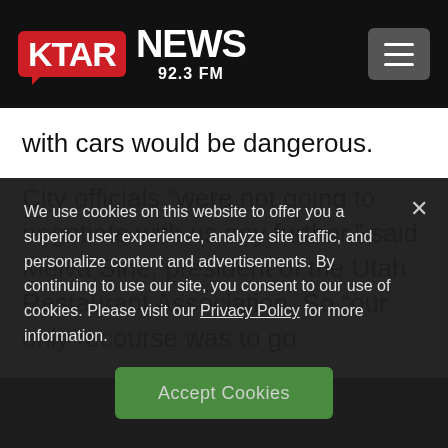KTAR NEWS 92.3 FM
with cars would be dangerous.
City officials “were not going to negotiate with us any further,” said Melva Sine, president of the Utah Restaurant Association. So “our only recourse was to go
We use cookies on this website to offer you a superior user experience, analyze site traffic, and personalize content and advertisements. By continuing to use our site, you consent to our use of cookies. Please visit our Privacy Policy for more information.
Accept Cookies